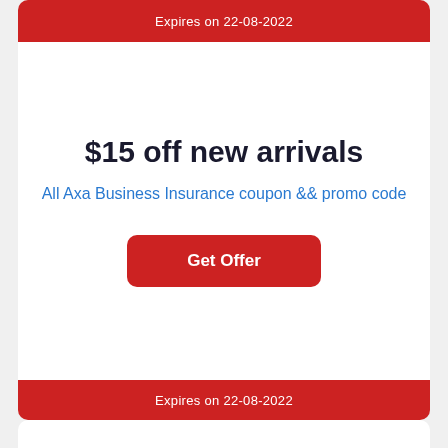Expires on 22-08-2022
$15 off new arrivals
All Axa Business Insurance coupon && promo code
Get Offer
Expires on 22-08-2022